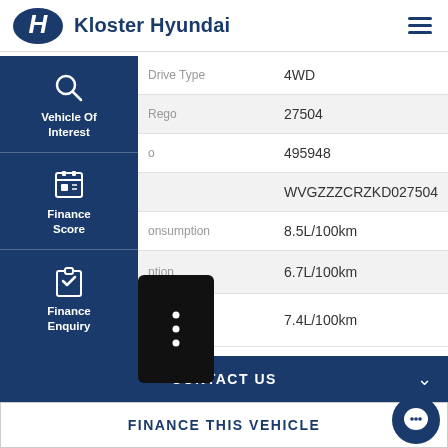Kloster Hyundai
| Field | Value |
| --- | --- |
| Drive Type | 4WD |
| Rego | 27504 |
|  | 495948 |
|  | WVGZZZCRZKD027504 |
| onsumption | 8.5L/100km |
| ption | 6.7L/100km |
| Fuel Consumption (Combined) | 7.4L/100km |
CONTACT US
FINANCE THIS VEHICLE